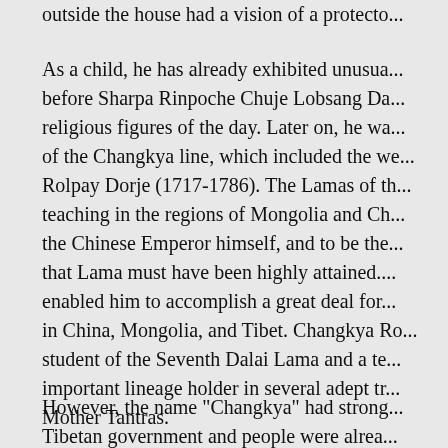outside the house had a vision of a protecto...
As a child, he has already exhibited unusua... before Sharpa Rinpoche Chuje Lobsang Da... religious figures of the day. Later on, he wa... of the Changkya line, which included the we... Rolpay Dorje (1717-1786). The Lamas of th... teaching in the regions of Mongolia and Ch... the Chinese Emperor himself, and to be the... that Lama must have been highly attained.... enabled him to accomplish a great deal for... in China, Mongolia, and Tibet. Changkya Ro... student of the Seventh Dalai Lama and a te... important lineage holder in several adept tr... Mother Tantras.
However, the name "Changkya" had strong... Tibetan government and people were alrea... put on them from China, the name "Changk... was declared to be "Pabongka" instead.
There was a small monastery atop the rock... was eventually recognized and enthroned...